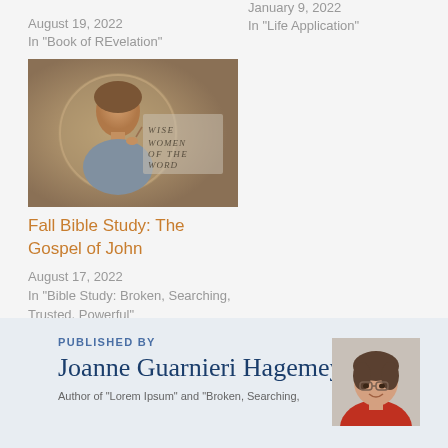August 19, 2022
In "Book of REvelation"
January 9, 2022
In "Life Application"
[Figure (illustration): Ancient Roman-style portrait painting of a woman with a stylus, overlaid with text 'Wise Women of the Word']
Fall Bible Study: The Gospel of John
August 17, 2022
In "Bible Study: Broken, Searching, Trusted, Powerful"
PUBLISHED BY
Joanne Guarnieri Hagemeyer
[Figure (photo): Headshot photo of Joanne Guarnieri Hagemeyer, a woman with short dark hair and glasses]
Author of "Lorem Ipsum" and "Broken, Searching,